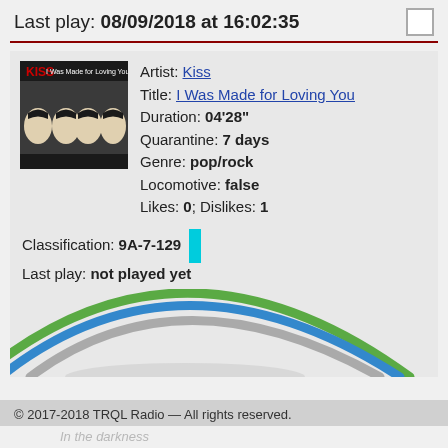Last play: 08/09/2018 at 16:02:35
Artist: Kiss
Title: I Was Made for Loving You
Duration: 04'28"
Quarantine: 7 days
Genre: pop/rock
Locomotive: false
Likes: 0; Dislikes: 1
Classification: 9A-7-129
Last play: not played yet
[Figure (illustration): Stylized arc/wave graphic with green, blue, and grey arcs on light grey background]
© 2017-2018 TRQL Radio — All rights reserved.